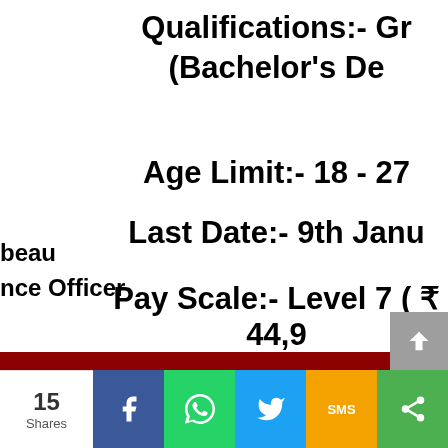Qualifications:- Gr
(Bachelor's De
beau
nce Officer
Age Limit:- 18 - 27
Last Date:- 9th Janu
Pay Scale:- Level 7 ( ₹ 44,9
cksarkarinaukri.c
Jobs Recruitme
s Manager / Assistant / D
Manager
15 Shares  f  [WhatsApp]  [Twitter]  SMS  [Share]